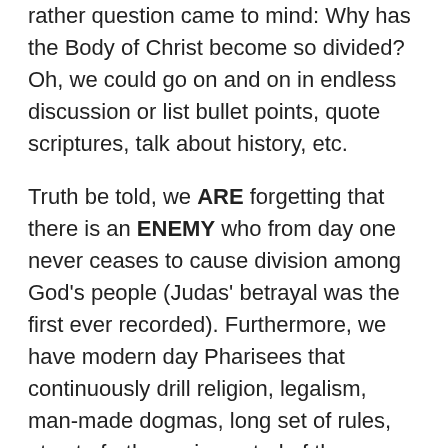rather question came to mind: Why has the Body of Christ become so divided? Oh, we could go on and on in endless discussion or list bullet points, quote scriptures, talk about history, etc.
Truth be told, we ARE forgetting that there is an ENEMY who from day one never ceases to cause division among God's people (Judas' betrayal was the first ever recorded). Furthermore, we have modern day Pharisees that continuously drill religion, legalism, man-made dogmas, long set of rules, etc., to further gain control of the masses to turn them away from a personal, loving and freedom-filled relationship with Jesus.
We cannot continue to point fingers and place